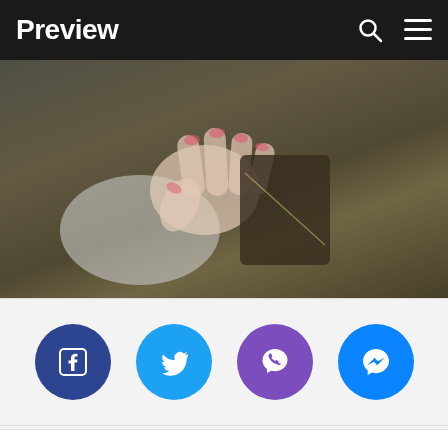Preview
[Figure (photo): A close-up photo of a person's hands holding or touching an object, with a dark semi-transparent overlay. The background shows warm olive/tan tones.]
[Figure (infographic): Social media share buttons row: Facebook (dark blue), Twitter (light blue), Viber (purple), Messenger (blue)]
The distance from the car to the studio was supposed to just be a hop, skip, and jump away,